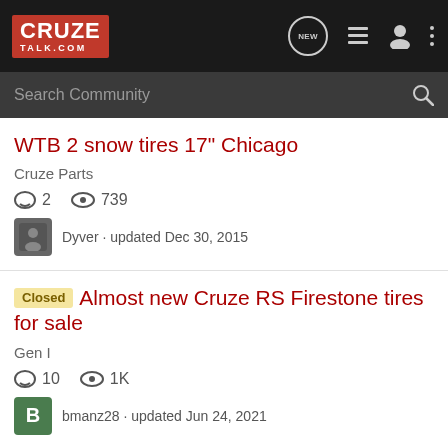CruzeTalk.com
Search Community
WTB 2 snow tires 17" Chicago
Cruze Parts
2  739
Dyver · updated Dec 30, 2015
Closed Almost new Cruze RS Firestone tires for sale
Gen I
10  1K
bmanz28 · updated Jun 24, 2021
General ... 215/60...
[Figure (advertisement): UNICEF advertisement banner with logo and children photo]